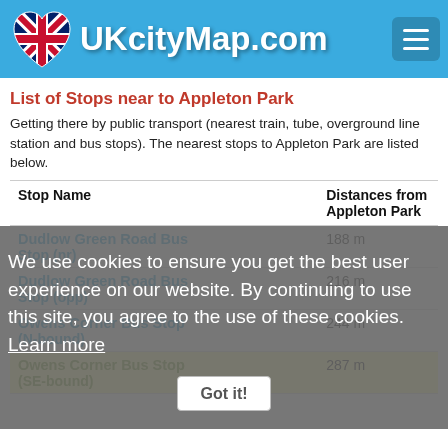UKcityMap.com
List of Stops near to Appleton Park
Getting there by public transport (nearest train, tube, overground line station and bus stops). The nearest stops to Appleton Park are listed below.
| Stop Name | Distances from Appleton Park |
| --- | --- |
| Dudlow Green Road Bus Stop (nr) | 188 m |
| Dudlow Green Road Bus Stop (opp) | 216 m |
| Owens Corner Bus Stop (N-bound) | 244 m |
| Owens Corner Bus Stop (SE-bound) | 287 m |
We use cookies to ensure you get the best user experience on our website. By continuing to use this site, you agree to the use of these cookies. Learn more